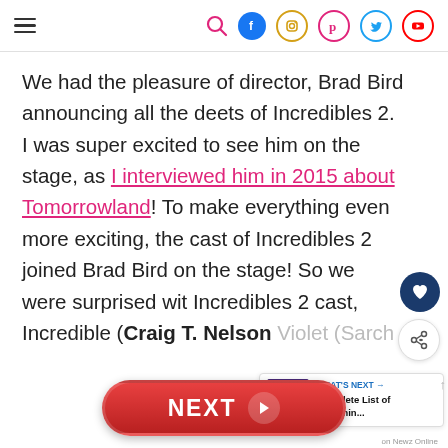Navigation header with hamburger menu and social icons (search, facebook, instagram, pinterest, twitter, youtube)
We had the pleasure of director, Brad Bird announcing all the deets of Incredibles 2. I was super excited to see him on the stage, as I interviewed him in 2015 about Tomorrowland! To make everything even more exciting, the cast of Incredibles 2 joined Brad Bird on the stage! So we were surprised wit Incredibles 2 cast, Incredible (Craig T. Nelson Violet (Sarah Vowell)
[Figure (infographic): NEXT button - red pill-shaped button with white bold NEXT text and right arrow circle]
[Figure (infographic): WHAT'S NEXT panel: thumbnail image of venue with text 'Complete List of Upcomin...']